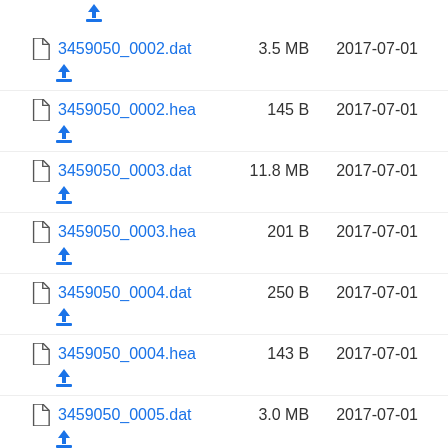3459050_0002.dat  3.5 MB  2017-07-01
3459050_0002.hea  145 B  2017-07-01
3459050_0003.dat  11.8 MB  2017-07-01
3459050_0003.hea  201 B  2017-07-01
3459050_0004.dat  250 B  2017-07-01
3459050_0004.hea  143 B  2017-07-01
3459050_0005.dat  3.0 MB  2017-07-01
3459050_0005.hea